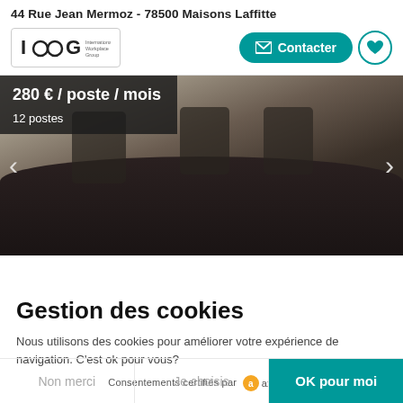44 Rue Jean Mermoz - 78500 Maisons Laffitte
[Figure (logo): IWG International Workplace Group logo]
Contacter
[Figure (photo): Conference room with dark table and chairs, office space photo]
280 € / poste / mois
12 postes
Gestion des cookies
Nous utilisons des cookies pour améliorer votre expérience de navigation. C'est ok pour vous?
Consentements certifiés par axeptio
Non merci
Je choisis
OK pour moi